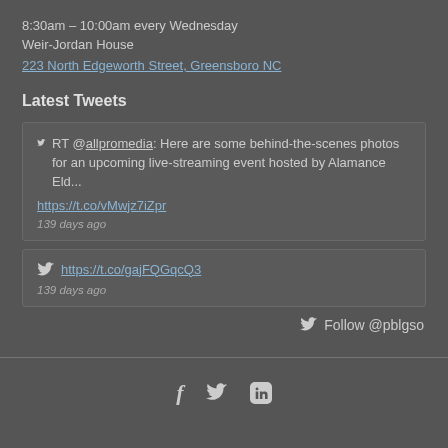8:30am – 10:00am every Wednesday
Weir-Jordan House
223 North Edgeworth Street, Greensboro NC
Latest Tweets
RT @allpromedia: Here are some behind-the-scenes photos for an upcoming live-streaming event hosted by Alamance Eld... https://t.co/vMwjz7iZpr 139 days ago
https://t.co/gajFQGqcQ3 139 days ago
Follow @pblgso